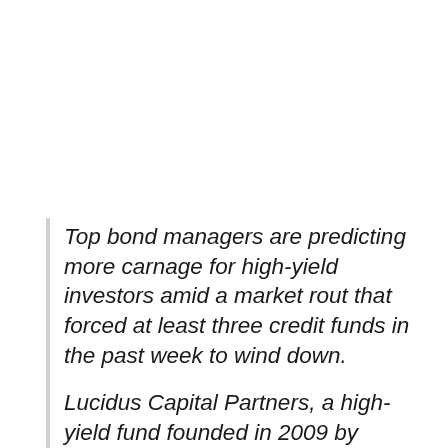Top bond managers are predicting more carnage for high-yield investors amid a market rout that forced at least three credit funds in the past week to wind down.
Lucidus Capital Partners, a high-yield fund founded in 2009 by